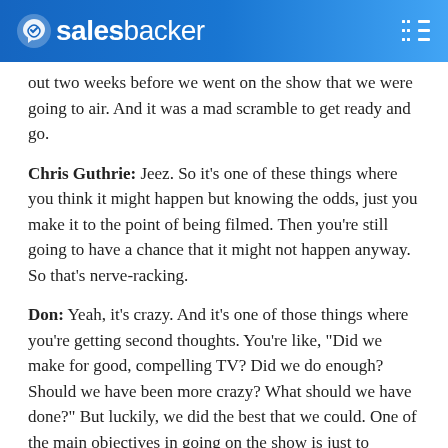salesbacker
out two weeks before we went on the show that we were going to air. And it was a mad scramble to get ready and go.
Chris Guthrie: Jeez. So it's one of these things where you think it might happen but knowing the odds, just you make it to the point of being filmed. Then you're still going to have a chance that it might not happen anyway. So that's nerve-racking.
Don: Yeah, it's crazy. And it's one of those things where you're getting second thoughts. You're like, "Did we make for good, compelling TV? Did we do enough? Should we have been more crazy? What should we have done?" But luckily, we did the best that we could. One of the main objectives in going on the show is just to represent our brand well, to tell people about our product, and to tell our story and where we've been, and we got to do that. And I'm really thankful to the producers and editors who allowed us to do that. You go in there for an hour, you're